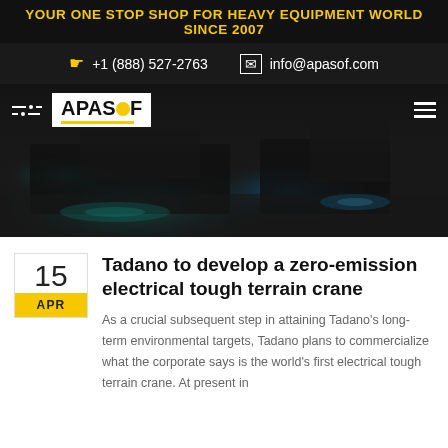YOUR ONE STOP SHOP FOR HEAVY EQUIPMENT WORLD SINCE 2007
+1 (888) 527-2763   info@apasof.com
[Figure (screenshot): APASOF website hero banner with dark background showing heavy equipment machinery with cyan/blue lighting accents. Navigation bar with APASOF logo, filter icon on left and hamburger menu on right.]
Tadano to develop a zero-emission electrical tough terrain crane
As a crucial subsequent step in attaining Tadano's long-term environmental targets, Tadano plans to commercialize what the corporate says is the world's first electrical tough terrain crane. At present in